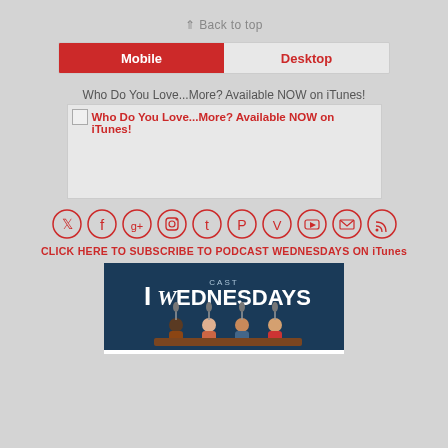⇑ Back to top
Mobile | Desktop
Who Do You Love...More? Available NOW on iTunes!
Who Do You Love...More? Available NOW on iTunes!
[Figure (infographic): Social media icons in red circles: Twitter, Facebook, Google+, Instagram, Tumblr, Pinterest, Vimeo, YouTube, Email, RSS]
CLICK HERE TO SUBSCRIBE TO PODCAST WEDNESDAYS ON iTunes
[Figure (illustration): Podcast Wednesdays logo/banner with illustrated characters around a table with microphones]